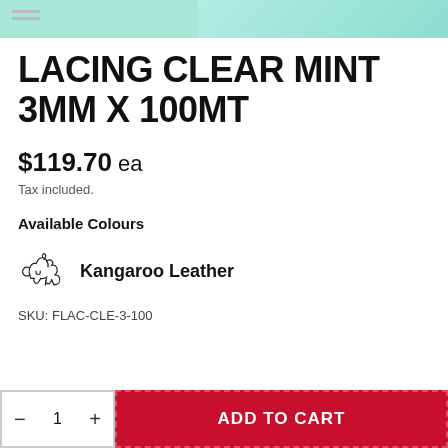[Figure (photo): Top portion of a product image showing mint/teal colored lacing material with navigation menu icon]
LACING CLEAR MINT 3MM X 100MT
$119.70 ea
Tax included.
Available Colours
[Figure (logo): Kangaroo leather brand logo — outline drawing of a kangaroo]
Kangaroo Leather
SKU: FLAC-CLE-3-100